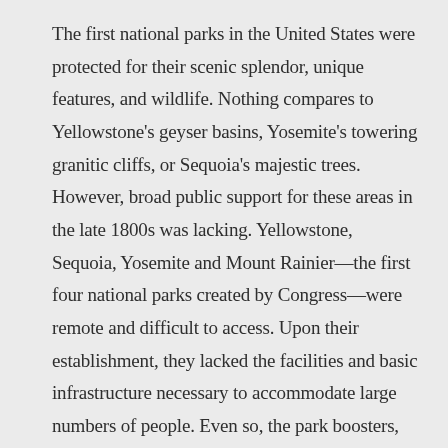The first national parks in the United States were protected for their scenic splendor, unique features, and wildlife. Nothing compares to Yellowstone's geyser basins, Yosemite's towering granitic cliffs, or Sequoia's majestic trees. However, broad public support for these areas in the late 1800s was lacking. Yellowstone, Sequoia, Yosemite and Mount Rainier—the first four national parks created by Congress—were remote and difficult to access. Upon their establishment, they lacked the facilities and basic infrastructure necessary to accommodate large numbers of people. Even so, the park boosters, advocates, and visitors who had experienced these landscapes understood they were special places.